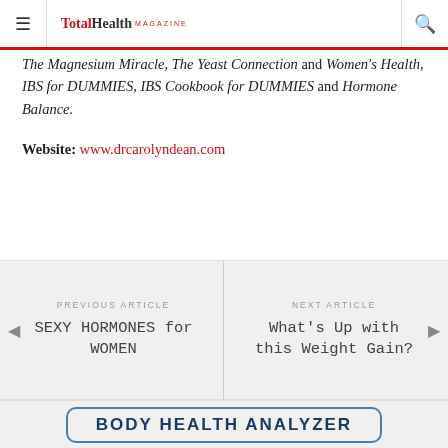TotalHealth MAGAZINE
The Magnesium Miracle, The Yeast Connection and Women's Health, IBS for DUMMIES, IBS Cookbook for DUMMIES and Hormone Balance.
Website: www.drcarolyndean.com
PREVIOUS ARTICLE
SEXY HORMONES for WOMEN
NEXT ARTICLE
What's Up with this Weight Gain?
BODY HEALTH ANALYZER